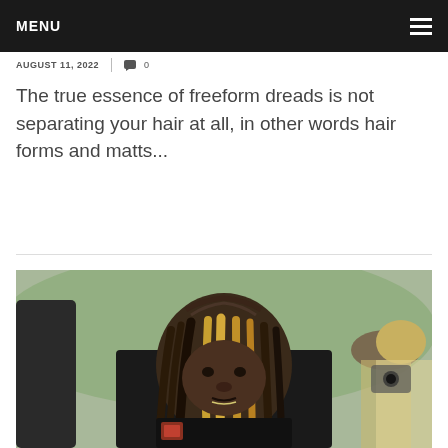MENU
AUGUST 11, 2022  |  0
The true essence of freeform dreads is not separating your hair at all, in other words hair forms and matts...
[Figure (photo): A man with long freeform dreadlocks, partially blonde, standing outdoors with people in the background]